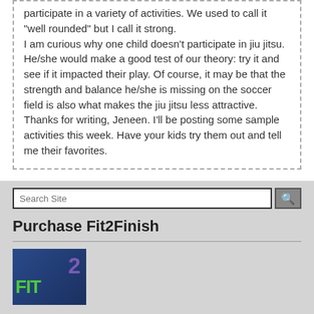participate in a variety of activities. We used to call it "well rounded" but I call it strong.
I am curious why one child doesn't participate in jiu jitsu. He/she would make a good test of our theory: try it and see if it impacted their play. Of course, it may be that the strength and balance he/she is missing on the soccer field is also what makes the jiu jitsu less attractive.
Thanks for writing, Jeneen. I'll be posting some sample activities this week. Have your kids try them out and tell me their favorites.
Search Site
Purchase Fit2Finish
[Figure (logo): Fit2Finish book cover with FIT in green and 2 in purple on dark blue background]